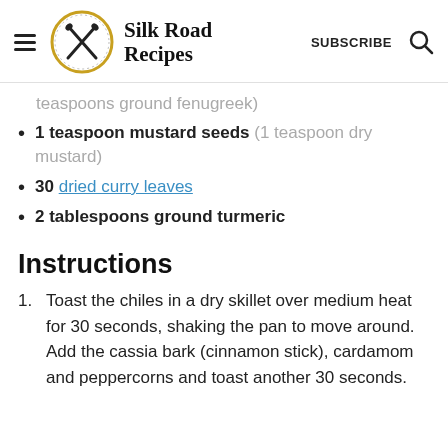Silk Road Recipes | SUBSCRIBE
teaspoons ground fenugreek)
1 teaspoon mustard seeds (1 teaspoon dry mustard)
30 dried curry leaves
2 tablespoons ground turmeric
Instructions
Toast the chiles in a dry skillet over medium heat for 30 seconds, shaking the pan to move around. Add the cassia bark (cinnamon stick), cardamom and peppercorns and toast another 30 seconds.